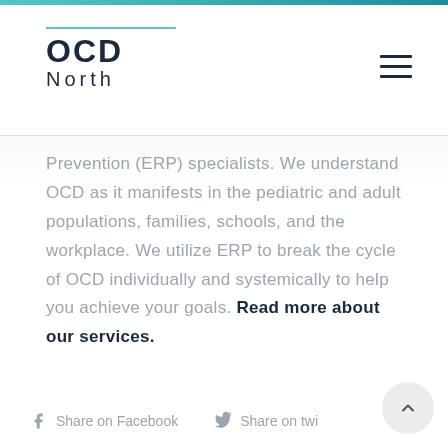OCD North
Prevention (ERP) specialists. We understand OCD as it manifests in the pediatric and adult populations, families, schools, and the workplace. We utilize ERP to break the cycle of OCD individually and systemically to help you achieve your goals. Read more about our services.
Share on Facebook  Share on twi...